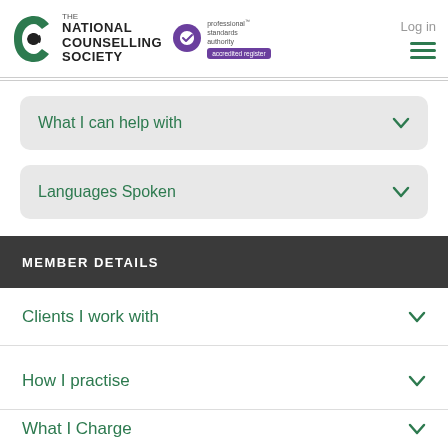The National Counselling Society | professional standards authority accredited register | Log in
What I can help with
Languages Spoken
MEMBER DETAILS
Clients I work with
How I practise
What I Charge